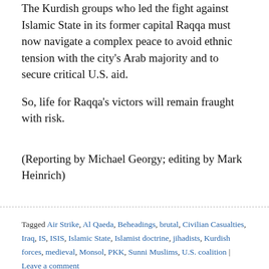The Kurdish groups who led the fight against Islamic State in its former capital Raqqa must now navigate a complex peace to avoid ethnic tension with the city's Arab majority and to secure critical U.S. aid.
So, life for Raqqa's victors will remain fraught with risk.
(Reporting by Michael Georgy; editing by Mark Heinrich)
Tagged Air Strike, Al Qaeda, Beheadings, brutal, Civilian Casualties, Iraq, IS, ISIS, Islamic State, Islamist doctrine, jihadists, Kurdish forces, medieval, Monsol, PKK, Sunni Muslims, U.S. coalition | Leave a comment
Marawi standoff enters third month, underlining crisis in Philippines